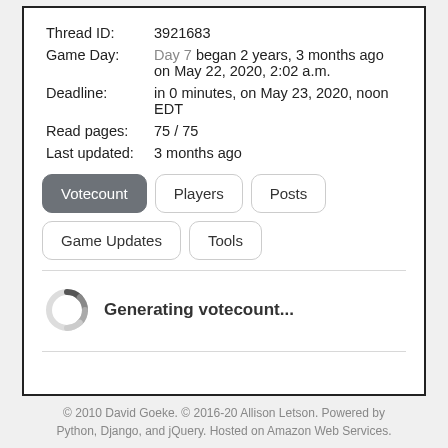| Thread ID: | 3921683 |
| Game Day: | Day 7 began 2 years, 3 months ago on May 22, 2020, 2:02 a.m. |
| Deadline: | in 0 minutes, on May 23, 2020, noon EDT |
| Read pages: | 75 / 75 |
| Last updated: | 3 months ago |
[Figure (infographic): Navigation button tabs: Votecount (active/dark), Players, Posts, Game Updates, Tools]
[Figure (infographic): Loading spinner icon with text: Generating votecount...]
© 2010 David Goeke. © 2016-20 Allison Letson. Powered by Python, Django, and jQuery. Hosted on Amazon Web Services.